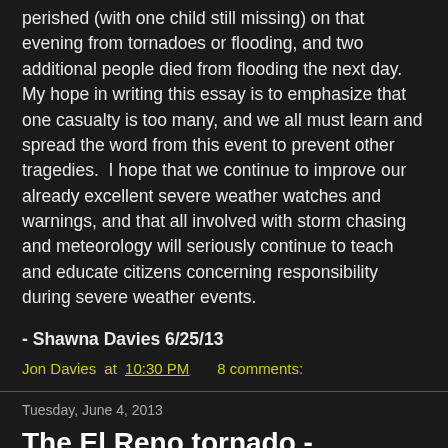perished (with one child still missing) on that evening from tornadoes or flooding, and two additional people died from flooding the next day.  My hope in writing this essay is to emphasize that one casualty is too many, and we all must learn and spread the word from this event to prevent other tragedies.  I hope that we continue to improve our already excellent severe weather watches and warnings, and that all involved with storm chasing and meteorology will seriously continue to teach and educate citizens concerning responsibility during severe weather events.
- Shawna Davies 6/25/13
Jon Davies at 10:30 PM    8 comments:
Tuesday, June 4, 2013
The El Reno tornado - unusual & very deadly